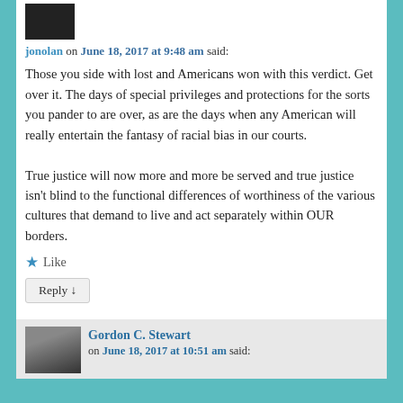[Figure (photo): Dark avatar/profile image thumbnail at top]
jonolan on June 18, 2017 at 9:48 am said:
Those you side with lost and Americans won with this verdict. Get over it. The days of special privileges and protections for the sorts you pander to are over, as are the days when any American will really entertain the fantasy of racial bias in our courts.

True justice will now more and more be served and true justice isn't blind to the functional differences of worthiness of the various cultures that demand to live and act separately within OUR borders.
★ Like
Reply ↓
[Figure (photo): Profile photo thumbnail for Gordon C. Stewart]
Gordon C. Stewart on June 18, 2017 at 10:51 am said: